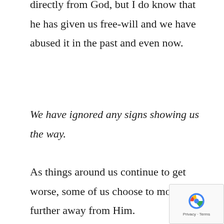directly from God, but I do know that he has given us free-will and we have abused it in the past and even now.
We have ignored any signs showing us the way.
As things around us continue to get worse, some of us choose to move further away from Him.